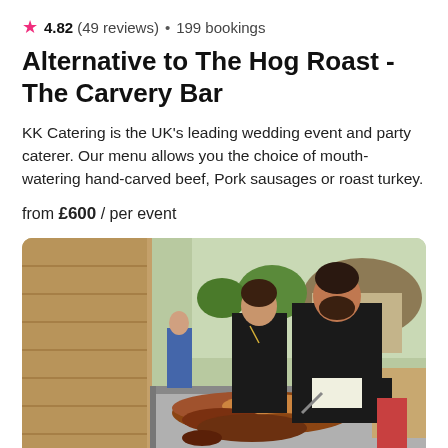4.82 (49 reviews) • 199 bookings
Alternative to The Hog Roast - The Carvery Bar
KK Catering is the UK's leading wedding event and party caterer. Our menu allows you the choice of mouth-watering hand-carved beef, Pork sausages or roast turkey.
from £600 / per event
[Figure (photo): Two catering staff dressed in black carving and serving roasted meat at an outdoor event, with a thatched roof building visible in the background.]